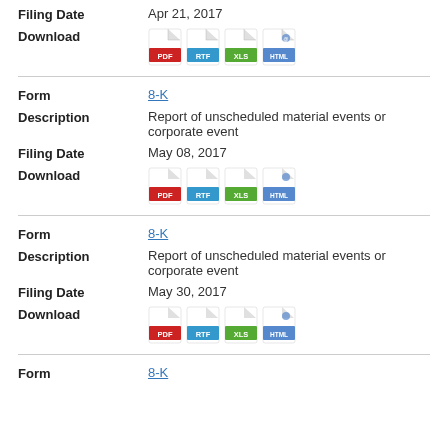Filing Date: Apr 21, 2017
Download: PDF RTF XLS HTML
Form: 8-K
Description: Report of unscheduled material events or corporate event
Filing Date: May 08, 2017
Download: PDF RTF XLS HTML
Form: 8-K
Description: Report of unscheduled material events or corporate event
Filing Date: May 30, 2017
Download: PDF RTF XLS HTML
Form: 8-K